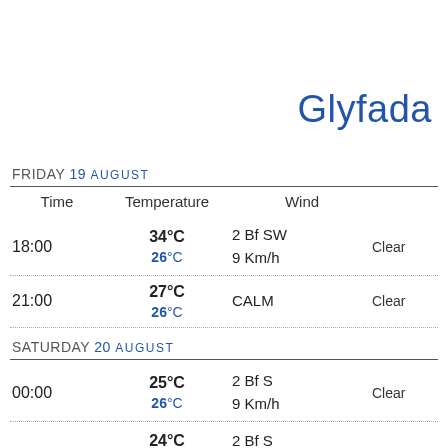Glyfada
FRIDAY 19 AUGUST
| Time | Temperature | Wind |  |
| --- | --- | --- | --- |
| 18:00 | 34°C / 26°C | 2 Bf SW
9 Km/h | Clear |
| 21:00 | 27°C / 26°C | CALM | Clear |
SATURDAY 20 AUGUST
| Time | Temperature | Wind |  |
| --- | --- | --- | --- |
| 00:00 | 25°C / 26°C | 2 Bf S
9 Km/h | Clear |
|  | 24°C | 2 Bf S |  |